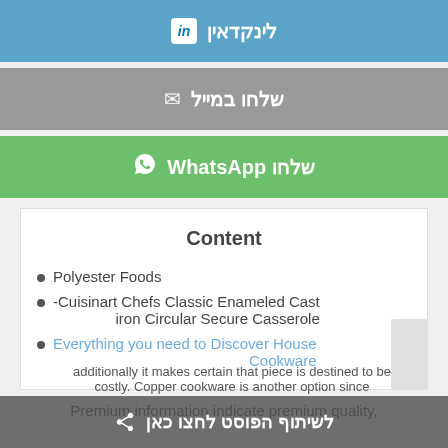[Figure (screenshot): LinkedIn share button - blue button with LinkedIn icon and Hebrew text לינקדאין]
[Figure (screenshot): Email share button - gray button with envelope icon and Hebrew text שלחו במייל]
[Figure (screenshot): WhatsApp share button - green button with WhatsApp icon and text שלחו WhatsApp]
Content
Polyester Foods
Cuisinart Chefs Classic Enameled Cast-iron Circular Secure Casserole
Everything you need to Discover House Cookware
Premium information indicate premium quality,
additionally it makes certain that piece is destined to be costly. Copper cookware is another option since
לשיתוף הפוסט לחצו כאן